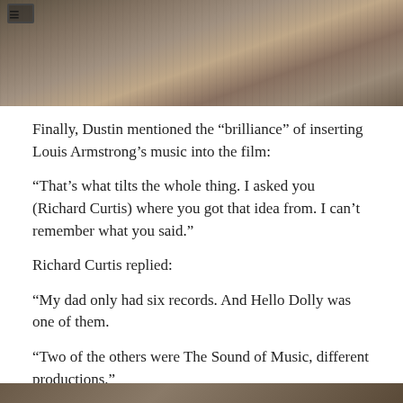[Figure (photo): Top photo showing what appears to be a cluttered desk or workspace scene, partially visible]
Finally, Dustin mentioned the “brilliance” of inserting Louis Armstrong’s music into the film:
“That’s what tilts the whole thing. I asked you (Richard Curtis) where you got that idea from. I can’t remember what you said.”
Richard Curtis replied:
“My dad only had six records. And Hello Dolly was one of them.
“Two of the others were The Sound of Music, different productions.”
****************************************************
************
[Figure (photo): Bottom photo partially visible at the bottom edge of the page]